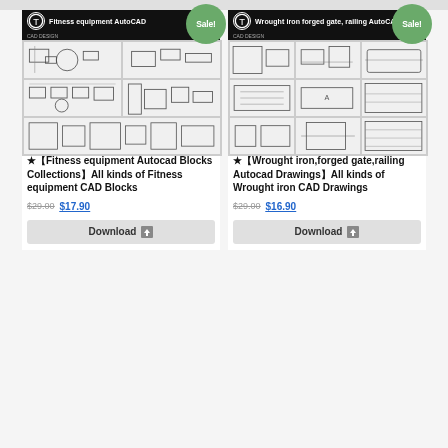[Figure (screenshot): Fitness equipment AutoCAD blocks collection product thumbnail showing multiple CAD drawings of fitness equipment in a grid layout with Sale badge]
[Figure (screenshot): Wrought iron forged gate railing AutoCAD drawings product thumbnail showing multiple CAD drawings in a grid layout with Sale badge]
★【Fitness equipment Autocad Blocks Collections】All kinds of Fitness equipment CAD Blocks
★【Wrought iron,forged gate,railing Autocad Drawings】All kinds of Wrought iron CAD Drawings
$29.00 $17.90
$29.00 $16.90
Download
Download